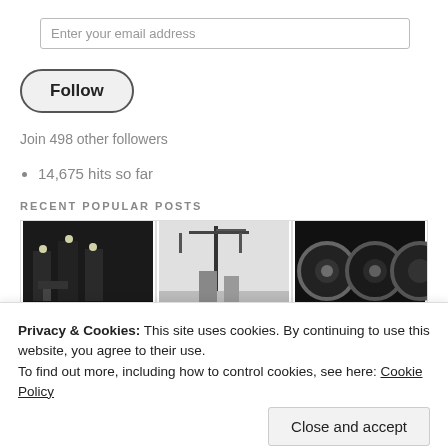Enter your email address
Follow
Join 498 other followers
14,675 hits so far
RECENT POPULAR POSTS
[Figure (photo): Three thumbnail photos of recent popular posts: black and white building at night, construction/crane scene, circular mechanical parts]
Privacy & Cookies: This site uses cookies. By continuing to use this website, you agree to their use.
To find out more, including how to control cookies, see here: Cookie Policy
Close and accept